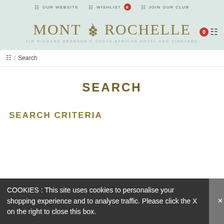OUR WEBSITE  WISHLIST 0  JOIN OUR CLUB
[Figure (logo): Mont Rochelle logo with grape cluster icon. Text reads MONT ROCHELLE with subtitle SIR RICHARD BRANSON'S SOUTH AFRICAN HOTEL AND VINEYARD]
/ Search
SEARCH
SEARCH CRITERIA
COOKIES : This site uses cookies to personalise your shopping experience and to analyse traffic. Please click the X on the right to close this box.